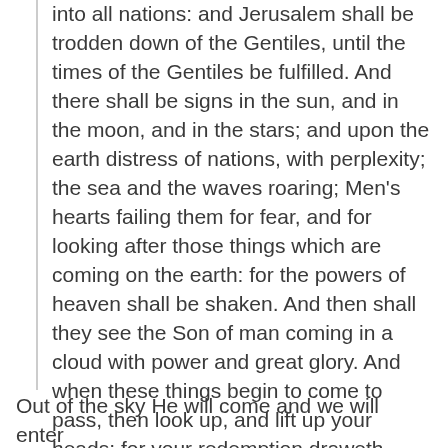into all nations: and Jerusalem shall be trodden down of the Gentiles, until the times of the Gentiles be fulfilled. And there shall be signs in the sun, and in the moon, and in the stars; and upon the earth distress of nations, with perplexity; the sea and the waves roaring; Men's hearts failing them for fear, and for looking after those things which are coming on the earth: for the powers of heaven shall be shaken. And then shall they see the Son of man coming in a cloud with power and great glory. And when these things begin to come to pass, then look up, and lift up your heads; for your redemption draweth nigh.
—Luke 21:12-28 KJV {emphasis added}
Out of the sky He will come and we will enter